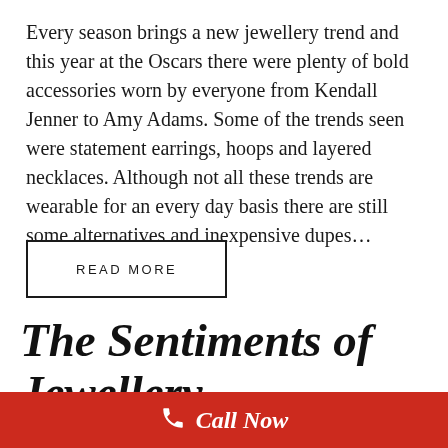Every season brings a new jewellery trend and this year at the Oscars there were plenty of bold accessories worn by everyone from Kendall Jenner to Amy Adams. Some of the trends seen were statement earrings, hoops and layered necklaces. Although not all these trends are wearable for an every day basis there are still some alternatives and inexpensive dupes…
READ MORE
The Sentiments of Jewellery
MAY 6, 2017
Call Now